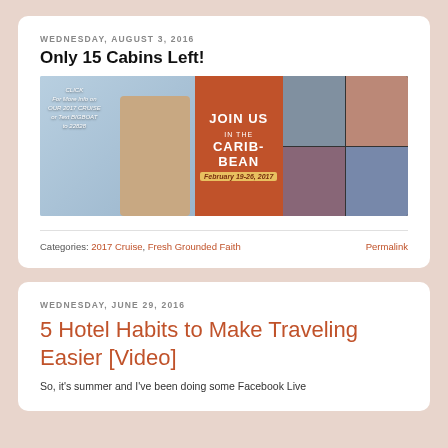WEDNESDAY, AUGUST 3, 2016
Only 15 Cabins Left!
[Figure (photo): Caribbean cruise promotional banner with a woman host, 'JOIN US IN THE CARIBBEAN February 19-26, 2017', and portraits of several celebrity guests including Kirk Cameron, Chelsea Cameron, Meredith Andrews, and Michael Lyndon]
Categories: 2017 Cruise, Fresh Grounded Faith   Permalink
WEDNESDAY, JUNE 29, 2016
5 Hotel Habits to Make Traveling Easier [Video]
So, it's summer and I've been doing some Facebook Live